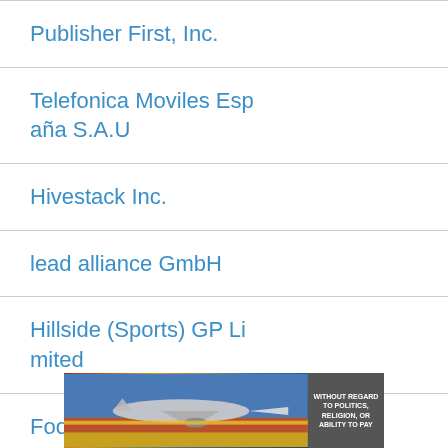Publisher First, Inc.
Telefonica Moviles España S.A.U
Hivestack Inc.
lead alliance GmbH
Hillside (Sports) GP Limited
Footballco Media Limit
[Figure (photo): Advertisement banner showing an airplane being loaded with cargo, with text 'WITHOUT REGARD TO POLITICS, RELIGION, OR ABILITY TO PAY' on a dark background]